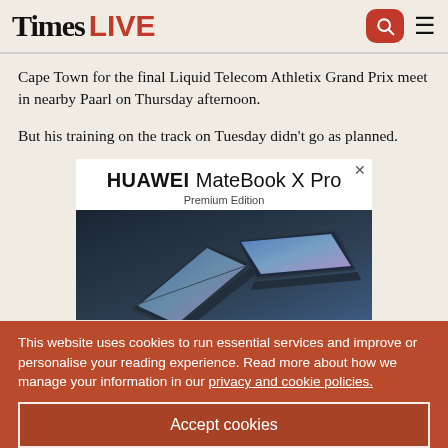Times LIVE
Cape Town for the final Liquid Telecom Athletix Grand Prix meet in nearby Paarl on Thursday afternoon.
But his training on the track on Tuesday didn't go as planned.
[Figure (screenshot): Advertisement for HUAWEI MateBook X Pro Premium Edition showing two laptops crossing in an X shape on a dark background]
This website uses cookies to run essential services and improve or personalise your reading experience. Read more about how we manage your information in our privacy and cookie policies.
Accept cookies